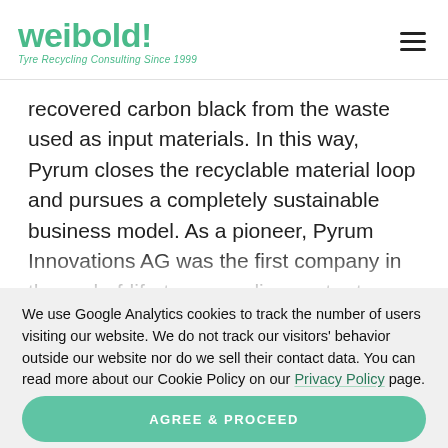weibold! Tyre Recycling Consulting Since 1999
recovered carbon black from the waste used as input materials. In this way, Pyrum closes the recyclable material loop and pursues a completely sustainable business model. As a pioneer, Pyrum Innovations AG was the first company in the end-of-life-tyre recycling sector to receive REACH registration from the European Chemicals Agen...
We use Google Analytics cookies to track the number of users visiting our website. We do not track our visitors' behavior outside our website nor do we sell their contact data. You can read more about our Cookie Policy on our Privacy Policy page.
AGREE & PROCEED